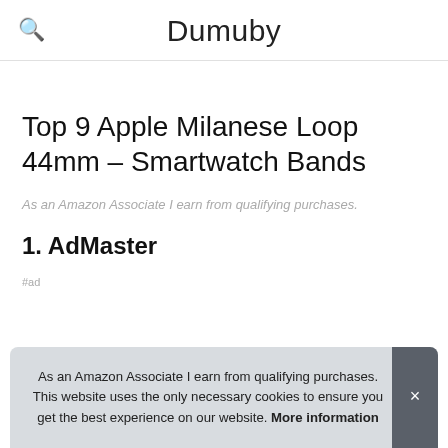Dumuby
Top 9 Apple Milanese Loop 44mm – Smartwatch Bands
As an Amazon Associate I earn from qualifying purchases.
1. AdMaster
#ad
As an Amazon Associate I earn from qualifying purchases. This website uses the only necessary cookies to ensure you get the best experience on our website. More information